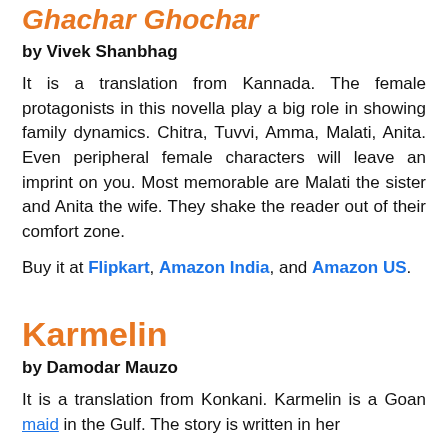Ghachar Ghochar (partial/cut off at top)
by Vivek Shanbhag
It is a translation from Kannada. The female protagonists in this novella play a big role in showing family dynamics. Chitra, Tuvvi, Amma, Malati, Anita. Even peripheral female characters will leave an imprint on you. Most memorable are Malati the sister and Anita the wife. They shake the reader out of their comfort zone.
Buy it at Flipkart, Amazon India, and Amazon US.
Karmelin
by Damodar Mauzo
It is a translation from Konkani. Karmelin is a Goan maid in the Gulf. The story is written in her